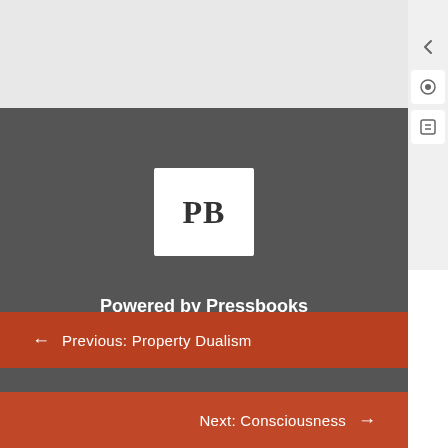[Figure (logo): Pressbooks PB logo — white square with bold PB text]
Powered by Pressbooks
Guides and Tutorials  |  Pressbooks Directory  |  Contact
[Figure (illustration): YouTube and Twitter social media icons in white]
[Figure (illustration): Orange circular back-to-top arrow button]
← Previous: Property Dualism
Next: Consciousness →